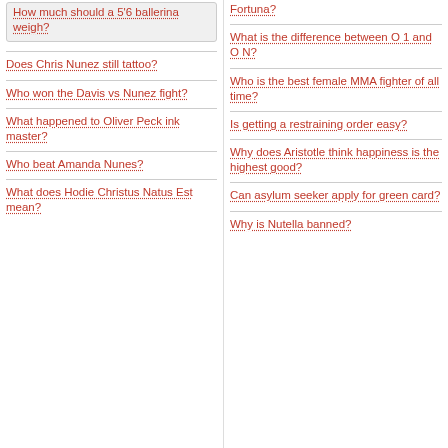How much should a 5'6 ballerina weigh?
Does Chris Nunez still tattoo?
Who won the Davis vs Nunez fight?
What happened to Oliver Peck ink master?
Who beat Amanda Nunes?
What does Hodie Christus Natus Est mean?
Fortuna?
What is the difference between O 1 and O N?
Who is the best female MMA fighter of all time?
Is getting a restraining order easy?
Why does Aristotle think happiness is the highest good?
Can asylum seeker apply for green card?
Why is Nutella banned?